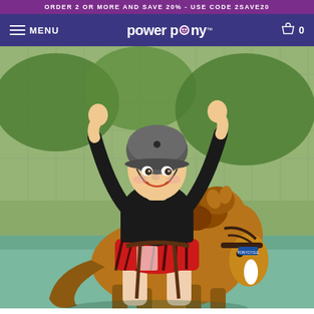ORDER 2 OR MORE AND SAVE 20% - USE CODE 2SAVE20
MENU  power pony™  0
[Figure (photo): A child wearing a black helmet and black shirt with red zebra-print shorts rides a plush brown horse toy (Power Pony) on a tennis court, arms raised in celebration. Chain-link fence and green foliage in background.]